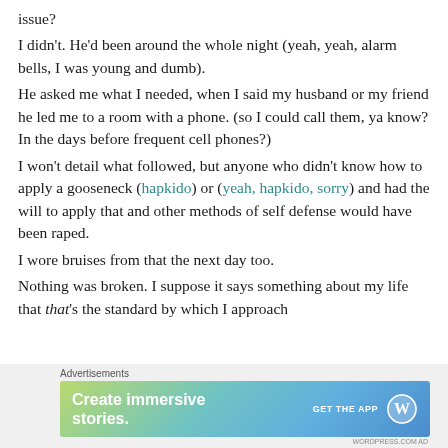issue?
I didn’t. He’d been around the whole night (yeah, yeah, alarm bells, I was young and dumb).
He asked me what I needed, when I said my husband or my friend he led me to a room with a phone. (so I could call them, ya know? In the days before frequent cell phones?)
I won’t detail what followed, but anyone who didn’t know how to apply a gooseneck (hapkido) or (yeah, hapkido, sorry) and had the will to apply that and other methods of self defense would have been raped.
I wore bruises from that the next day too.
Nothing was broken. I suppose it says something about my life that that’s the standard by which I approach
Advertisements
[Figure (infographic): WordPress app advertisement banner: 'Create immersive stories. GET THE APP' with WordPress logo on a gradient teal/green background.]